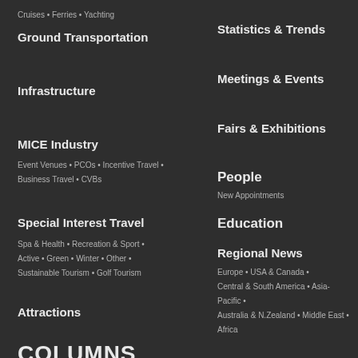Cruises • Ferries • Yachting
Ground Transportation
Infrastructure
MICE Industry
Event Venues • PCOs • Incentive Travel • Business Travel • CVBs
Special Interest Travel
Spa & Health • Recreation & Sport • Active • Green • Winter • Other • Sustainable Tourism • Golf Tourism
Attractions
Statistics & Trends
Meetings & Events
Fairs & Exhibitions
People
New Appointments
Education
Regional News
Europe • USA & Canada • Central & South America • Asia-Pacific • Australia & N.Zealand • Middle East • Africa
COLUMNS
Interviews
Survey